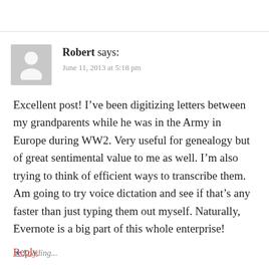Robert says:
June 11, 2013 at 5:18 pm
Excellent post! I’ve been digitizing letters between my grandparents while he was in the Army in Europe during WW2. Very useful for genealogy but of great sentimental value to me as well. I’m also trying to think of efficient ways to transcribe them. Am going to try voice dictation and see if that’s any faster than just typing them out myself. Naturally, Evernote is a big part of this whole enterprise!
★ Loading...
Reply